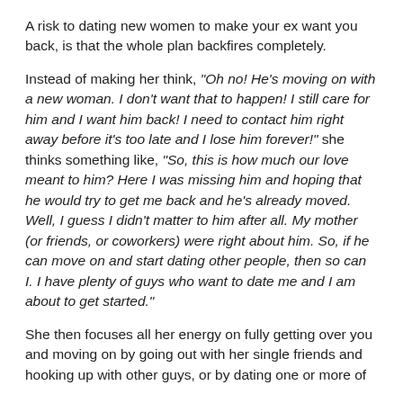A risk to dating new women to make your ex want you back, is that the whole plan backfires completely.
Instead of making her think, “Oh no! He’s moving on with a new woman. I don’t want that to happen! I still care for him and I want him back! I need to contact him right away before it’s too late and I lose him forever!” she thinks something like, “So, this is how much our love meant to him? Here I was missing him and hoping that he would try to get me back and he’s already moved. Well, I guess I didn’t matter to him after all. My mother (or friends, or coworkers) were right about him. So, if he can move on and start dating other people, then so can I. I have plenty of guys who want to date me and I am about to get started.”
She then focuses all her energy on fully getting over you and moving on by going out with her single friends and hooking up with other guys, or by dating one or more of